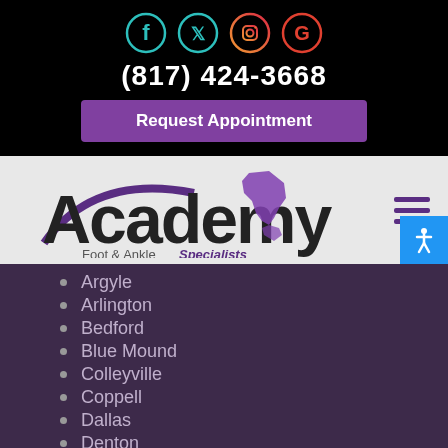[Figure (logo): Social media icons: Facebook (teal), Twitter (teal), Instagram (gradient orange/pink), Google (red/orange circle)]
(817) 424-3668
Request Appointment
[Figure (logo): Academy Foot & Ankle Specialists logo with Texas state shape in purple]
Argyle
Arlington
Bedford
Blue Mound
Colleyville
Coppell
Dallas
Denton
DFW
Euless
Flower Mound
Fort Worth